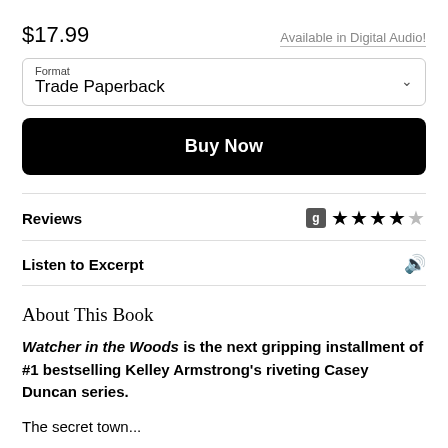$17.99
Available in Digital Audio!
Format
Trade Paperback
Buy Now
Reviews
Listen to Excerpt
About This Book
Watcher in the Woods is the next gripping installment of #1 bestselling Kelley Armstrong's riveting Casey Duncan series.
The secret town...